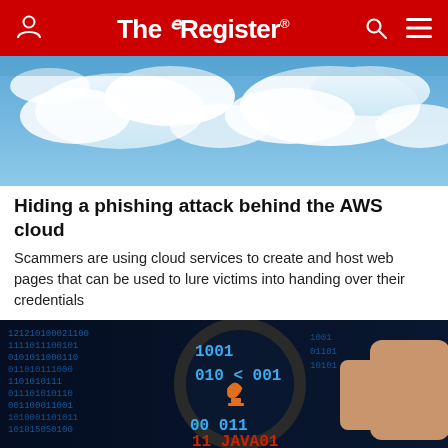The Register
[Figure (photo): Blue sky with white fluffy clouds]
Hiding a phishing attack behind the AWS cloud
Scammers are using cloud services to create and host web pages that can be used to lure victims into handing over their credentials
SECURITY   1 hr | 1 □
[Figure (photo): Hand holding magnifying glass over binary code with Java logo visible]